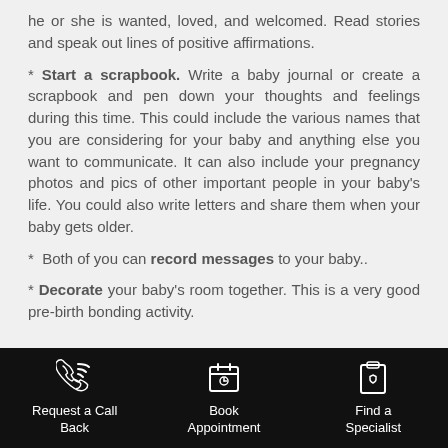he or she is wanted, loved, and welcomed. Read stories and speak out lines of positive affirmations.
* Start a scrapbook. Write a baby journal or create a scrapbook and pen down your thoughts and feelings during this time. This could include the various names that you are considering for your baby and anything else you want to communicate. It can also include your pregnancy photos and pics of other important people in your baby's life. You could also write letters and share them when your baby gets older.
* Both of you can record messages to your baby..
* Decorate your baby's room together. This is a very good pre-birth bonding activity.
Request a Call Back | Book Appointment | Find a Specialist